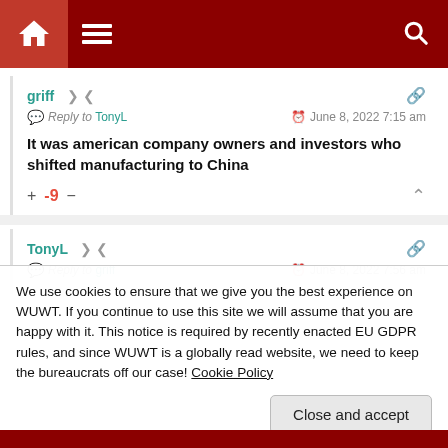Website navigation bar with home icon, menu icon, and search icon
griff
Reply to TonyL — June 8, 2022 7:15 am
It was american company owners and investors who shifted manufacturing to China
+ -9 −
TonyL
Reply to griff — June 8, 2022 7:56 am
We use cookies to ensure that we give you the best experience on WUWT. If you continue to use this site we will assume that you are happy with it. This notice is required by recently enacted EU GDPR rules, and since WUWT is a globally read website, we need to keep the bureaucrats off our case! Cookie Policy
Close and accept